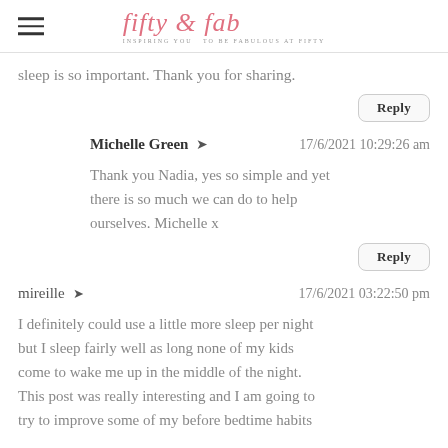fifty & fab — INSPIRING YOU TO BE FABULOUS AT FIFTY
sleep is so important. Thank you for sharing.
Reply
Michelle Green  17/6/2021 10:29:26 am
Thank you Nadia, yes so simple and yet there is so much we can do to help ourselves. Michelle x
Reply
mireille  17/6/2021 03:22:50 pm
I definitely could use a little more sleep per night but I sleep fairly well as long none of my kids come to wake me up in the middle of the night. This post was really interesting and I am going to try to improve some of my before bedtime habits